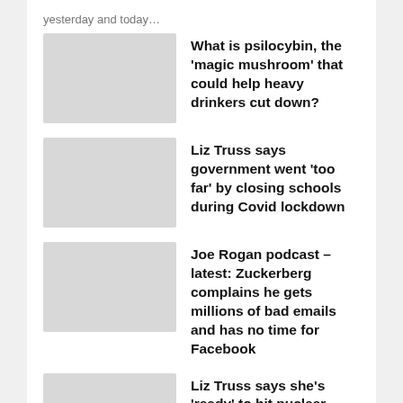…yesterday and today…
What is psilocybin, the 'magic mushroom' that could help heavy drinkers cut down?
Liz Truss says government went 'too far' by closing schools during Covid lockdown
Joe Rogan podcast – latest: Zuckerberg complains he gets millions of bad emails and has no time for Facebook
Liz Truss says she's 'ready' to hit nuclear button if necessary
[Figure (logo): UK Bulletin logo with red italic 'uk' and dark blue italic 'Bulletin' text]